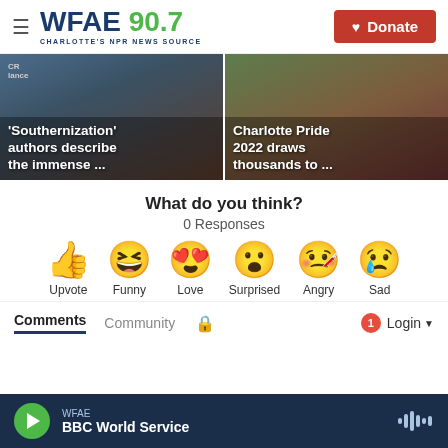WFAE 90.7 — CHARLOTTE'S NPR NEWS SOURCE | Donate
[Figure (photo): 'Southernization' authors describe the immense ... — news card with photo background]
[Figure (photo): Charlotte Pride 2022 draws thousands to ... — news card with photo background]
What do you think?
0 Responses
[Figure (infographic): Reaction emojis row: Upvote (thumbs up), Funny (laughing face), Love (heart eyes), Surprised (wow face), Angry (crying/drool face), Sad (sad with tear)]
Upvote   Funny   Love   Surprised   Angry   Sad
Comments   Community   🔒   1   Login
WFAE — BBC World Service